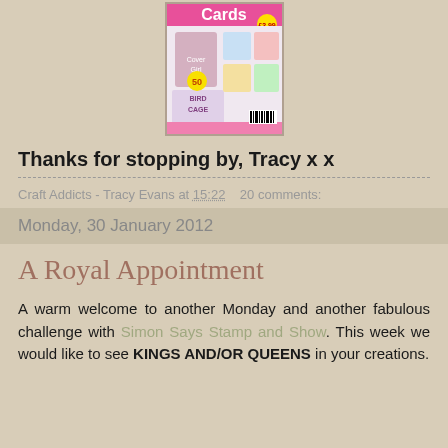[Figure (photo): Magazine cover for 'Cards' craft magazine showing decorative cards, a birdcage, and craft paper]
Thanks for stopping by, Tracy x x
Craft Addicts - Tracy Evans at 15:22   20 comments:
Monday, 30 January 2012
A Royal Appointment
A warm welcome to another Monday and another fabulous challenge with Simon Says Stamp and Show. This week we would like to see KINGS AND/OR QUEENS in your creations.